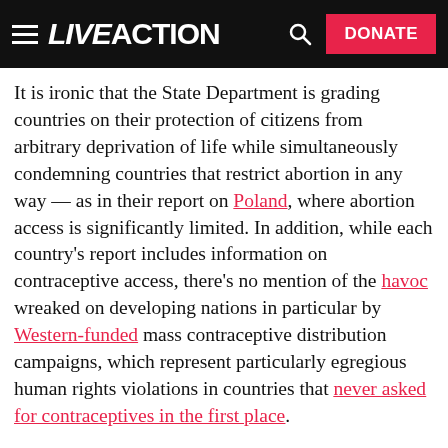LIVE ACTION — DONATE
It is ironic that the State Department is grading countries on their protection of citizens from arbitrary deprivation of life while simultaneously condemning countries that restrict abortion in any way — as in their report on Poland, where abortion access is significantly limited. In addition, while each country's report includes information on contraceptive access, there's no mention of the havoc wreaked on developing nations in particular by Western-funded mass contraceptive distribution campaigns, which represent particularly egregious human rights violations in countries that never asked for contraceptives in the first place.
"Like" Live Action News on Facebook for more pro-life